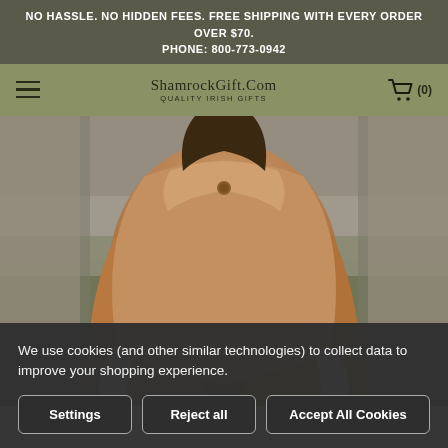NO HASSLE. NO HIDDEN FEES. FREE SHIPPING WITH EVERY ORDER OVER $70.
PHONE: 800-773-0942
ShamrockGift.Com QUALITY IRISH GIFTS
[Figure (photo): Woman wearing a tan/camel-colored wool poncho cape, standing in a foggy field. She wears white cable-knit sleeves visible at the hem. Natural outdoor background.]
We use cookies (and other similar technologies) to collect data to improve your shopping experience.
Settings | Reject all | Accept All Cookies